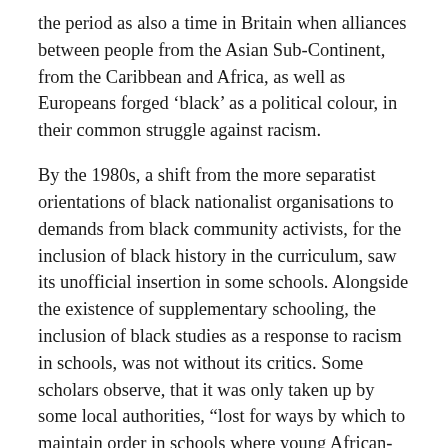the period as also a time in Britain when alliances between people from the Asian Sub-Continent, from the Caribbean and Africa, as well as Europeans forged ‘black’ as a political colour, in their common struggle against racism.
By the 1980s, a shift from the more separatist orientations of black nationalist organisations to demands from black community activists, for the inclusion of black history in the curriculum, saw its unofficial insertion in some schools. Alongside the existence of supplementary schooling, the inclusion of black studies as a response to racism in schools, was not without its critics. Some scholars observe, that it was only taken up by some local authorities, “lost for ways by which to maintain order in schools where young African-Caribbean’s were refusing to cooperate, black studies was adopted almost as their last fling at efforts in social control” (Shukra, 1998 p.